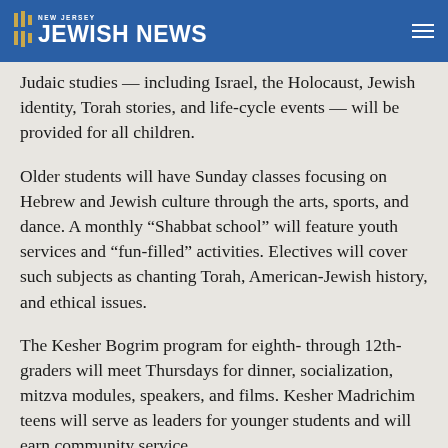NEW JERSEY JEWISH NEWS
Judaic studies — including Israel, the Holocaust, Jewish identity, Torah stories, and life-cycle events — will be provided for all children.
Older students will have Sunday classes focusing on Hebrew and Jewish culture through the arts, sports, and dance. A monthly “Shabbat school” will feature youth services and “fun-filled” activities. Electives will cover such subjects as chanting Torah, American-Jewish history, and ethical issues.
The Kesher Bogrim program for eighth- through 12th-graders will meet Thursdays for dinner, socialization, mitzva modules, speakers, and films. Kesher Madrichim teens will serve as leaders for younger students and will earn community service